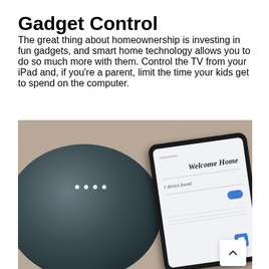Gadget Control
The great thing about homeownership is investing in fun gadgets, and smart home technology allows you to do so much more with them. Control the TV from your iPad and, if you're a parent, limit the time your kids get to spend on the computer.
[Figure (photo): A dark teal Google Home Mini smart speaker sitting on a textured surface next to a smartphone displaying a 'Welcome Home' setup screen with '1 device found' message and a blue toggle button. A scroll-to-top arrow button appears in the bottom right corner of the image.]